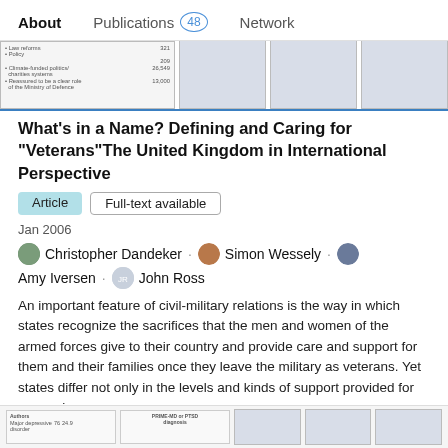About   Publications 48   Network
[Figure (screenshot): Partial thumbnail of a table with numbers like 209, 26,549, 13,000 and some bullet text]
What's in a Name? Defining and Caring for "Veterans"The United Kingdom in International Perspective
Article   Full-text available
Jan 2006
Christopher Dandeker · Simon Wessely · Amy Iversen · John Ross
An important feature of civil-military relations is the way in which states recognize the sacrifices that the men and women of the armed forces give to their country and provide care and support for them and their families once they leave the military as veterans. Yet states differ not only in the levels and kinds of support provided for ex-service...
View
[Figure (screenshot): Partial thumbnails of another publication at the bottom of the page including a table with PRIME-MD or PTSD diagnosis text]